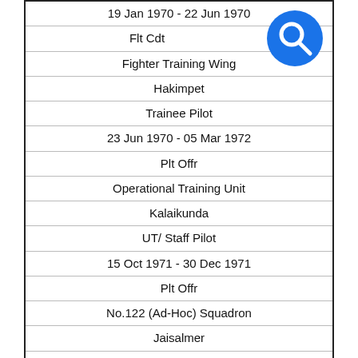| 19 Jan 1970 - 22 Jun 1970 |
| Flt Cdt |
| Fighter Training Wing |
| Hakimpet |
| Trainee Pilot |
| 23 Jun 1970 - 05 Mar 1972 |
| Plt Offr |
| Operational Training Unit |
| Kalaikunda |
| UT/ Staff Pilot |
| 15 Oct 1971 - 30 Dec 1971 |
| Plt Offr |
| No.122 (Ad-Hoc) Squadron |
| Jaisalmer |
| Squadron Pilot |
| 06 Mar 1972 - 17 Jun 1973 |